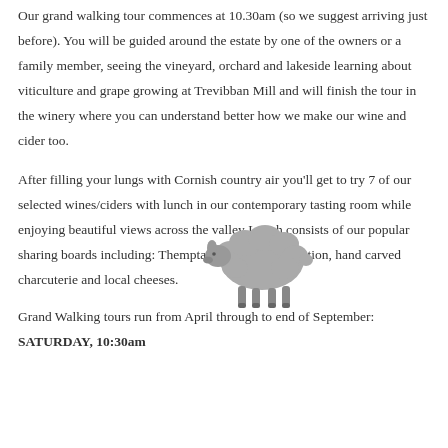Our grand walking tour commences at 10.30am (so we suggest arriving just before). You will be guided around the estate by one of the owners or a family member, seeing the vineyard, orchard and lakeside learning about viticulture and grape growing at Trevibban Mill and will finish the tour in the winery where you can understand better how we make our wine and cider too.
[Figure (illustration): Silhouette illustration of a sheep in grey, positioned in the center of the page overlapping the text]
After filling your lungs with Cornish country air you'll get to try 7 of our selected wines/ciders with lunch in our contemporary tasting room while enjoying beautiful views across the valley Lunch consists of our popular sharing boards including: Themptation hummus selection, hand carved charcuterie and local cheeses.
Grand Walking tours run from April through to end of September: SATURDAY, 10:30am